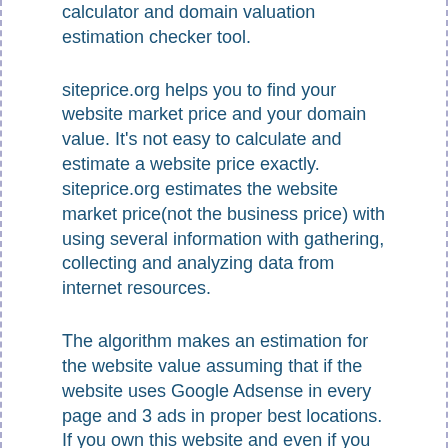calculator and domain valuation estimation checker tool.
siteprice.org helps you to find your website market price and your domain value. It's not easy to calculate and estimate a website price exactly. siteprice.org estimates the website market price(not the business price) with using several information with gathering, collecting and analyzing data from internet resources.
The algorithm makes an estimation for the website value assuming that if the website uses Google Adsense in every page and 3 ads in proper best locations. If you own this website and even if you are using Adsense and not getting a similar income, we would suggest to research ad placement to get better income.
To estimate the worth of a website, siteprice.org calculates with its own unique algorithm. If you want to